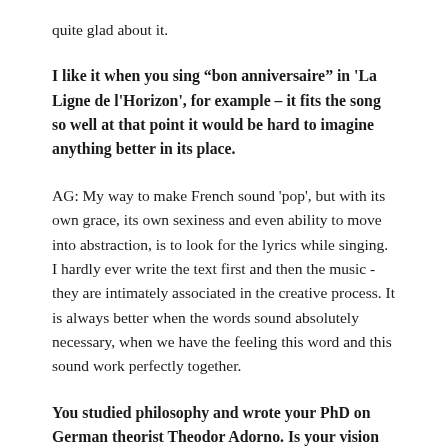quite glad about it.
I like it when you sing “bon anniversaire” in 'La Ligne de l'Horizon', for example – it fits the song so well at that point it would be hard to imagine anything better in its place.
AG: My way to make French sound 'pop', but with its own grace, its own sexiness and even ability to move into abstraction, is to look for the lyrics while singing. I hardly ever write the text first and then the music - they are intimately associated in the creative process. It is always better when the words sound absolutely necessary, when we have the feeling this word and this sound work perfectly together.
You studied philosophy and wrote your PhD on German theorist Theodor Adorno. Is your vision of pop partly a way of reckoning with Adorno’s withering contempt for popular music?